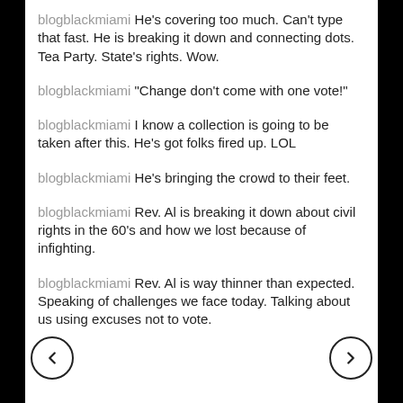blogblackmiami He's covering too much. Can't type that fast. He is breaking it down and connecting dots. Tea Party. State's rights. Wow.
blogblackmiami "Change don't come with one vote!"
blogblackmiami I know a collection is going to be taken after this. He's got folks fired up. LOL
blogblackmiami He's bringing the crowd to their feet.
blogblackmiami Rev. Al is breaking it down about civil rights in the 60's and how we lost because of infighting.
blogblackmiami Rev. Al is way thinner than expected. Speaking of challenges we face today. Talking about us using excuses not to vote.